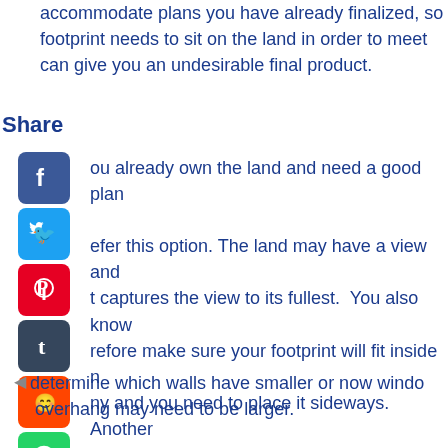accommodate plans you have already finalized, so footprint needs to sit on the land in order to meet can give you an undesirable final product.
Share
[Figure (infographic): Social media share buttons: Facebook (blue), Twitter (light blue), Pinterest (red), Tumblr (dark blue-grey), Reddit (orange), WhatsApp (green)]
ou already own the land and need a good plan efer this option. The land may have a view and t captures the view to its fullest. You also know refore make sure your footprint will fit inside n ny and you need to place it sideways. Another eep drop off in the back, which would allow for plan to the land also helps make it more energ determine which walls have smaller or now windo overhang may need to be larger.